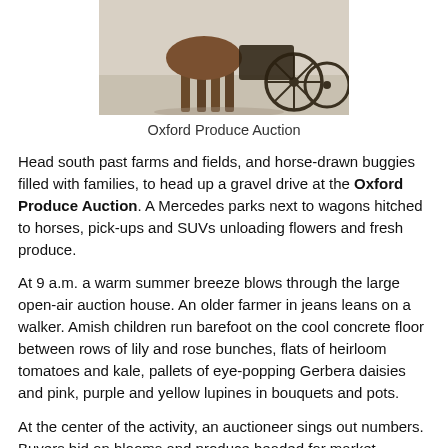[Figure (photo): Photo of horse-drawn buggy at the Oxford Produce Auction, showing horse legs and wagon wheels on a paved surface]
Oxford Produce Auction
Head south past farms and fields, and horse-drawn buggies filled with families, to head up a gravel drive at the Oxford Produce Auction. A Mercedes parks next to wagons hitched to horses, pick-ups and SUVs unloading flowers and fresh produce.
At 9 a.m. a warm summer breeze blows through the large open-air auction house. An older farmer in jeans leans on a walker. Amish children run barefoot on the cool concrete floor between rows of lily and rose bunches, flats of heirloom tomatoes and kale, pallets of eye-popping Gerbera daisies and pink, purple and yellow lupines in bouquets and pots.
At the center of the activity, an auctioneer sings out numbers. Buyers bid on blooms and produce headed for market shelves later that day and Chester County homes that evening.
As I end my flower farm tour, Graham Nash's gentle song comes to mind: "I'll light the fire, while you place the flowers in the vase that